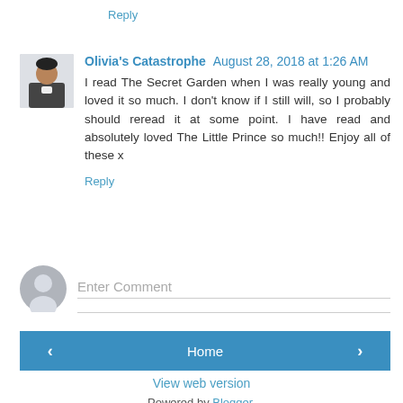Reply
Olivia's Catastrophe August 28, 2018 at 1:26 AM
I read The Secret Garden when I was really young and loved it so much. I don't know if I still will, so I probably should reread it at some point. I have read and absolutely loved The Little Prince so much!! Enjoy all of these x
Reply
[Figure (illustration): User avatar placeholder with generic person silhouette icon]
Enter Comment
Home
View web version
Powered by Blogger.